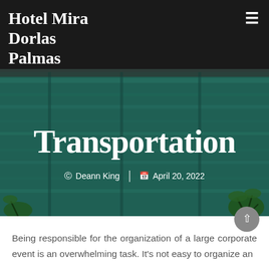Hotel Mira Dorlas Palmas
[Figure (photo): Aerial/overhead view of a hotel swimming pool with teal/turquoise water, green hedge rows, and tropical plants visible at the edges. The image serves as the hero banner background.]
Transportation
© Deann King | April 20, 2022
Being responsible for the organization of a large corporate event is an overwhelming task. It's not easy to organize an